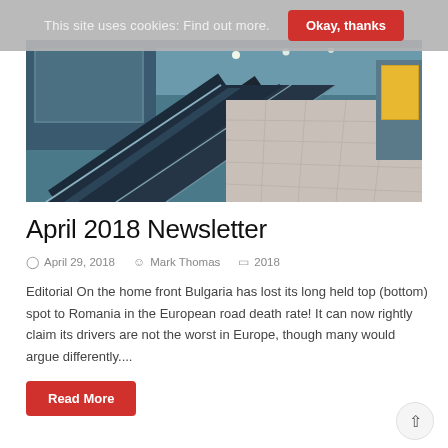This site uses cookies: Find out more.   Okay, thanks
[Figure (photo): Airport terminal with moving walkways/escalators and tiled floor, perspective view down a long corridor]
April 2018 Newsletter
April 29, 2018   Mark Thomas   2018
Editorial On the home front Bulgaria has lost its long held top (bottom) spot to Romania in the European road death rate! It can now rightly claim its drivers are not the worst in Europe, though many would argue differently....
Read More